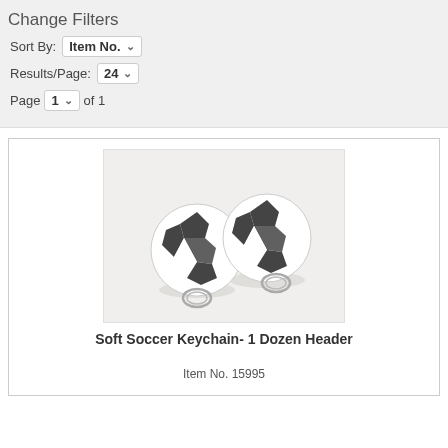Change Filters
Sort By: Item No.
Results/Page: 24
Page 1 of 1
[Figure (photo): Two soccer ball keychains with metal key rings, photographed on a white background.]
Soft Soccer Keychain- 1 Dozen Header
Item No. 15995